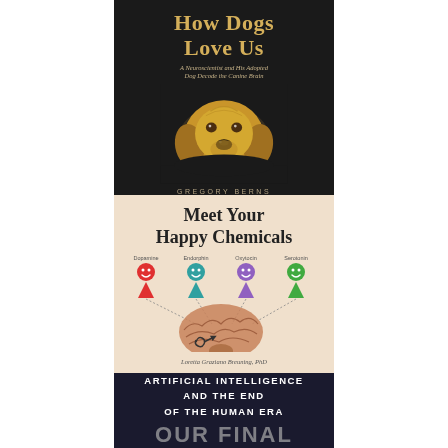[Figure (photo): Book cover: 'How Dogs Love Us' by Gregory Berns. Dark background with golden retriever dog face. Subtitle: 'A Neuroscientist and His Adopted Dog Decode the Canine Brain']
[Figure (illustration): Book cover: 'Meet Your Happy Chemicals' by Loretta Graziano Breuning, PhD. Light beige background with illustration of four happy chemical icons (Dopamine, Endorphin, Oxytocin, Serotonin) as colored smiley faces with arrows pointing to a brain illustration.]
[Figure (photo): Book cover partial: 'Artificial Intelligence and the End of the Human Era'. Dark navy background with white bold text, partially cropped.]